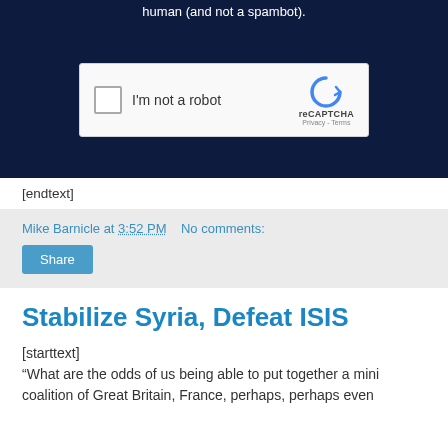[Figure (screenshot): Dark navy blue background section showing a reCAPTCHA widget with checkbox labeled 'I'm not a robot' and reCAPTCHA Privacy - Terms branding]
[endtext]
Mike Barnicle at 3:52 PM   No comments:
Share
Stabilize Syria, Defeat ISIS
[starttext]
“What are the odds of us being able to put together a mini coalition of Great Britain, France, perhaps, perhaps even